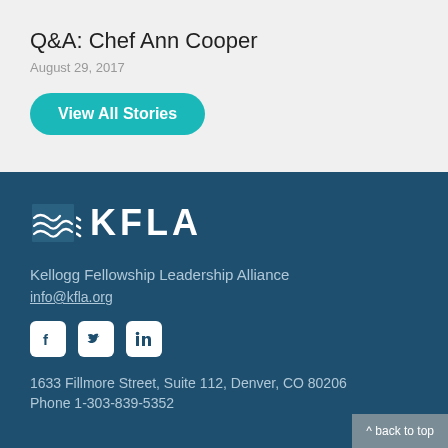Q&A: Chef Ann Cooper
August 29, 2017
View All Stories
[Figure (logo): KFLA logo with wave icon and text KFLA]
Kellogg Fellowship Leadership Alliance
info@kfla.org
[Figure (infographic): Social media icons: Facebook, Twitter, LinkedIn]
1633 Fillmore Street, Suite 112, Denver, CO 80206
Phone 1-303-839-5352
^ back to top